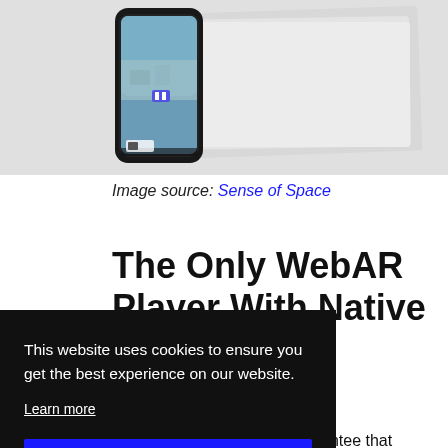[Figure (photo): A smartphone displaying a video/AR experience, placed against a white geometric background with layered rectangular shapes.]
Image source: Sense of Space
The Only WebAR Player With Native Adaptive Streaming
This website uses cookies to ensure you get the best experience on our website.
Learn more
Got it!
Through this feature, we guarantee that